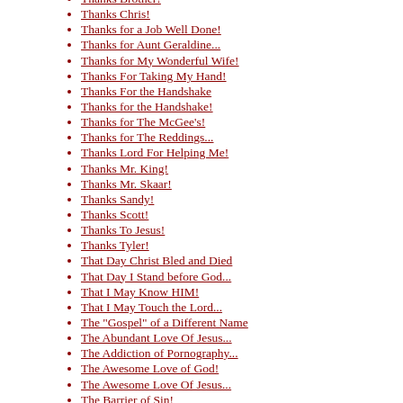Thanks Brother!
Thanks Chris!
Thanks for a Job Well Done!
Thanks for Aunt Geraldine...
Thanks for My Wonderful Wife!
Thanks For Taking My Hand!
Thanks For the Handshake
Thanks for the Handshake!
Thanks for The McGee's!
Thanks for The Reddings...
Thanks Lord For Helping Me!
Thanks Mr. King!
Thanks Mr. Skaar!
Thanks Sandy!
Thanks Scott!
Thanks To Jesus!
Thanks Tyler!
That Day Christ Bled and Died
That Day I Stand before God...
That I May Know HIM!
That I May Touch the Lord...
The "Gospel" of a Different Name
The Abundant Love Of Jesus...
The Addiction of Pornography...
The Awesome Love of God!
The Awesome Love Of Jesus...
The Barrier of Sin!
The Battle
The Battle Within
The Beautiful Name of Jesus!